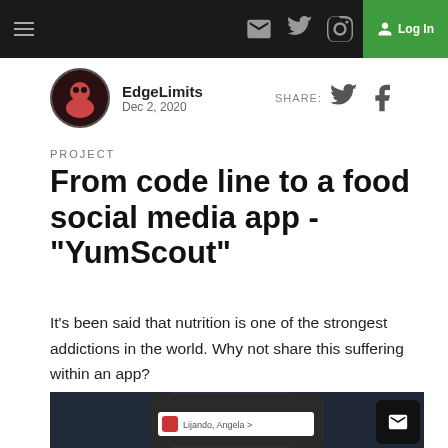EdgeLimits navigation bar with hamburger menu, mail, twitter, instagram icons and Log In button
EdgeLimits
Dec 2, 2020
PROJECT
From code line to a food social media app - "YumScout"
It's been said that nutrition is one of the strongest addictions in the world. Why not share this suffering within an app?
[Figure (screenshot): Screenshot of a mobile app on a phone screen showing code editor background, with a chat-like UI showing 'Lijando, Angela >' text. A dark email/chat widget button is in the bottom right.]